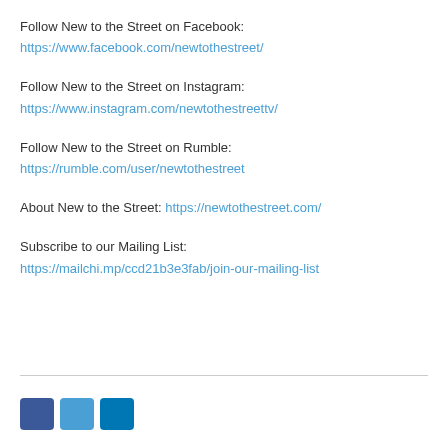Follow New to the Street on Facebook:
https://www.facebook.com/newtothestreet/
Follow New to the Street on Instagram:
https://www.instagram.com/newtothestreettv/
Follow New to the Street on Rumble:
https://rumble.com/user/newtothestreet
About New to the Street: https://newtothestreet.com/
Subscribe to our Mailing List:
https://mailchi.mp/ccd21b3e3fab/join-our-mailing-list